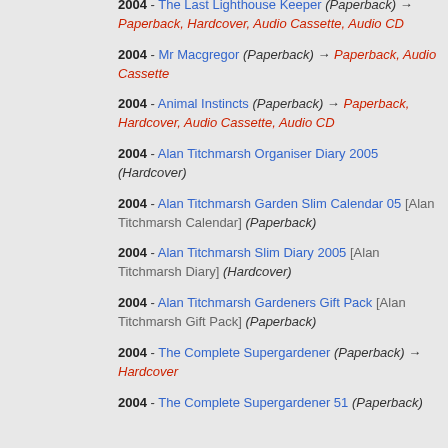2004 - The Last Lighthouse Keeper (Paperback) → Paperback, Hardcover, Audio Cassette, Audio CD
2004 - Mr Macgregor (Paperback) → Paperback, Audio Cassette
2004 - Animal Instincts (Paperback) → Paperback, Hardcover, Audio Cassette, Audio CD
2004 - Alan Titchmarsh Organiser Diary 2005 (Hardcover)
2004 - Alan Titchmarsh Garden Slim Calendar 05 [Alan Titchmarsh Calendar] (Paperback)
2004 - Alan Titchmarsh Slim Diary 2005 [Alan Titchmarsh Diary] (Hardcover)
2004 - Alan Titchmarsh Gardeners Gift Pack [Alan Titchmarsh Gift Pack] (Paperback)
2004 - The Complete Supergardener (Paperback) → Hardcover
2004 - The Complete Supergardener 51 (Paperback)